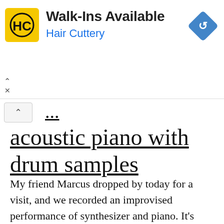[Figure (other): Hair Cuttery advertisement banner with yellow logo showing 'HC' initials, text 'Walk-Ins Available' and 'Hair Cuttery' in blue, and a blue diamond-shaped direction arrow icon on the right]
acoustic piano with drum samples
My friend Marcus dropped by today for a visit, and we recorded an improvised performance of synthesizer and piano. It's called Heartbeet. We named it this maybe because we both really like to eat beets, (yum!) and so therefore “heart” them, as well as because we were wanting to play on the concept of the [...]